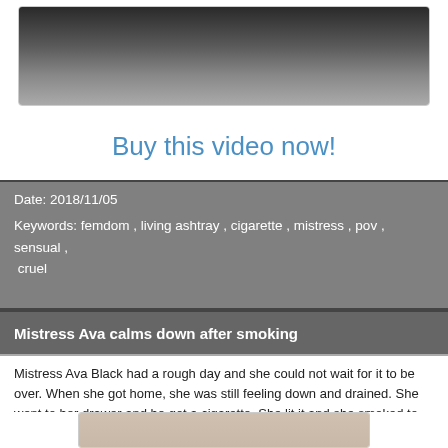[Figure (photo): Partial photo of a person, dark background, top of page]
Buy this video now!
Date: 2018/11/05
Keywords: femdom , living ashtray , cigarette , mistress , pov , sensual , cruel
Mistress Ava calms down after smoking
Mistress Ava Black had a rough day and she could not wait for it to be over. When she got home, she was still feeling down and drained. She went to her drawer and he got a cigarette. She lit it and she smoked to clear her mind and to forget what had just happened. She managed to calm her nerves and by the time she was on her third cigarette, she was feeling better.
[Figure (photo): Bottom partial photo, beige/flesh tones]